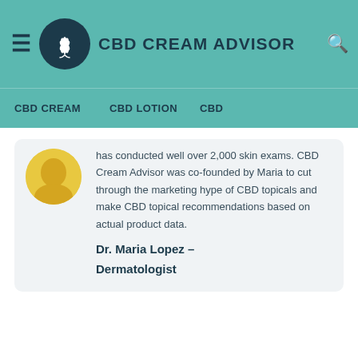CBD CREAM ADVISOR
CBD CREAM   CBD LOTION   CBD
has conducted well over 2,000 skin exams. CBD Cream Advisor was co-founded by Maria to cut through the marketing hype of CBD topicals and make CBD topical recommendations based on actual product data.
Dr. Maria Lopez – Dermatologist